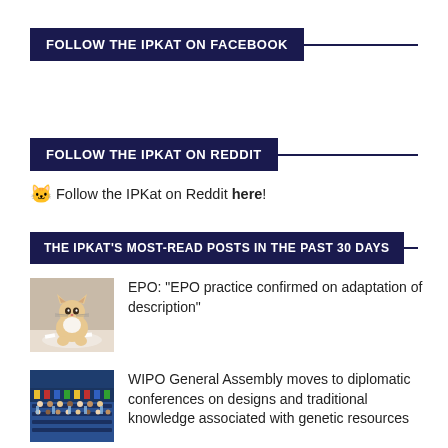FOLLOW THE IPKAT ON FACEBOOK
FOLLOW THE IPKAT ON REDDIT
Follow the IPKat on Reddit here!
THE IPKAT'S MOST-READ POSTS IN THE PAST 30 DAYS
EPO: "EPO practice confirmed on adaptation of description"
WIPO General Assembly moves to diplomatic conferences on designs and traditional knowledge associated with genetic resources